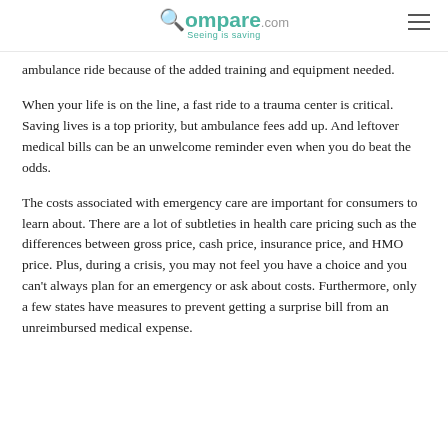Compare.com — Seeing is saving
ambulance ride because of the added training and equipment needed.
When your life is on the line, a fast ride to a trauma center is critical. Saving lives is a top priority, but ambulance fees add up. And leftover medical bills can be an unwelcome reminder even when you do beat the odds.
The costs associated with emergency care are important for consumers to learn about. There are a lot of subtleties in health care pricing such as the differences between gross price, cash price, insurance price, and HMO price. Plus, during a crisis, you may not feel you have a choice and you can't always plan for an emergency or ask about costs. Furthermore, only a few states have measures to prevent getting a surprise bill from an unreimbursed medical expense.